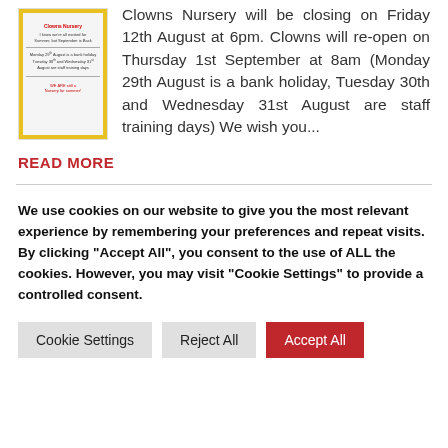[Figure (illustration): Small nursery flyer/poster with colorful border showing summer closing dates information]
Clowns Nursery will be closing on Friday 12th August at 6pm. Clowns will re-open on Thursday 1st September at 8am (Monday 29th August is a bank holiday, Tuesday 30th and Wednesday 31st August are staff training days) We wish you...
READ MORE
We use cookies on our website to give you the most relevant experience by remembering your preferences and repeat visits. By clicking "Accept All", you consent to the use of ALL the cookies. However, you may visit "Cookie Settings" to provide a controlled consent.